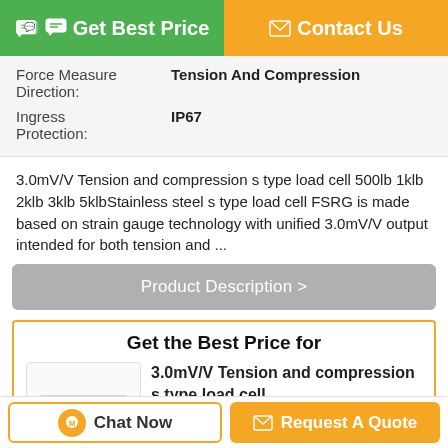[Figure (screenshot): Top navigation buttons: green 'Get Best Price' button and orange 'Contact Us' button]
| Force Measure Direction: | Tension And Compression |
| Ingress Protection: | IP67 |
3.0mV/V Tension and compression s type load cell 500lb 1klb 2klb 3klb 5klbStainless steel s type load cell FSRG is made based on strain gauge technology with unified 3.0mV/V output intended for both tension and ...
Product Description >
Get the Best Price for
[Figure (photo): S-type load cell product photo]
3.0mV/V Tension and compression s type load cell...
MOQ：1pc
[Figure (screenshot): Bottom bar with Chat Now and Request A Quote buttons]